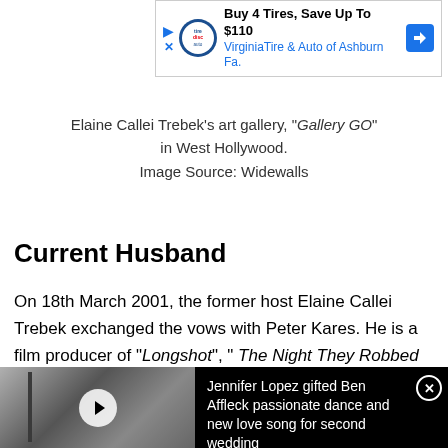[Figure (screenshot): Advertisement banner: Buy 4 Tires, Save Up To $110. Virginia Tire & Auto of Ashburn Fa. with logo and blue arrow icon.]
Elaine Callei Trebek's art gallery, "Gallery GO" in West Hollywood.
Image Source: Widewalls
Current Husband
On 18th March 2001, the former host Elaine Callei Trebek exchanged the vows with Peter Kares. He is a film producer of "Longshot", "The Night They Robbed Big Bertha's", and "The Switch or How to Alter Your Ego".
[Figure (screenshot): Video advertisement thumbnail showing a couple in black and white with play button overlay, and text: Jennifer Lopez gifted Ben Affleck passionate dance and new love song for second wedding]